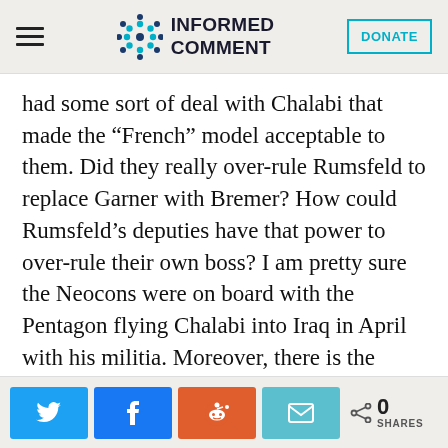INFORMED COMMENT [logo] DONATE
had some sort of deal with Chalabi that made the “French” model acceptable to them. Did they really over-rule Rumsfeld to replace Garner with Bremer? How could Rumsfeld’s deputies have that power to over-rule their own boss? I am pretty sure the Neocons were on board with the Pentagon flying Chalabi into Iraq in April with his militia. Moreover, there is the anecdote that Cheney poked his finger in Colin Powell’s chest recently and said, ‘If you had just let
Share buttons: Twitter, Facebook, Reddit, Email | 0 SHARES